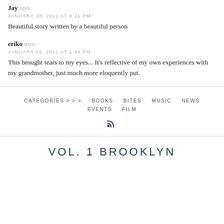Jay says:
JANUARY 18, 2011 AT 8:21 PM
Beautiful story written by a beautiful person
eriko says:
JANUARY 19, 2011 AT 1:44 PM
This brought tears to my eyes... It's reflective of my own experiences with my grandmother, just much more eloquently put.
CATEGORIES > > >   BOOKS   BITES   MUSIC   NEWS   EVENTS   FILM
[Figure (other): RSS feed icon]
VOL. 1 BROOKLYN